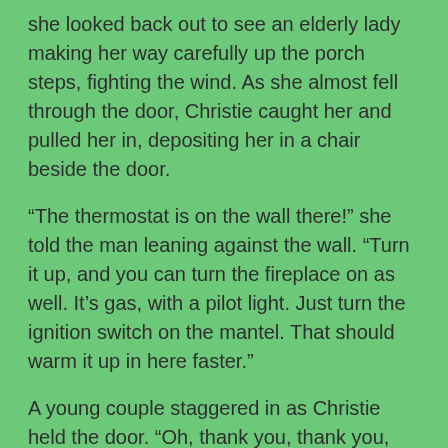she looked back out to see an elderly lady making her way carefully up the porch steps, fighting the wind. As she almost fell through the door, Christie caught her and pulled her in, depositing her in a chair beside the door.
“The thermostat is on the wall there!” she told the man leaning against the wall. “Turn it up, and you can turn the fireplace on as well. It’s gas, with a pilot light. Just turn the ignition switch on the mantel. That should warm it up in here faster.”
A young couple staggered in as Christie held the door. “Oh, thank you, thank you, thank you!” The woman sobbed as the man with her helped Christie slam the door shut. “I was so sure we were going to wind up freezing to death before we found shelter! There was no way we could stay warm in that car!”